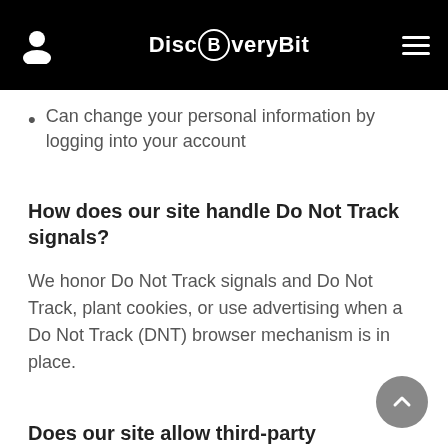DiscBveryBit
Can change your personal information by logging into your account
How does our site handle Do Not Track signals?
We honor Do Not Track signals and Do Not Track, plant cookies, or use advertising when a Do Not Track (DNT) browser mechanism is in place.
Does our site allow third-party behavioral tracking?
It’s also important to note that we do not allow third-party